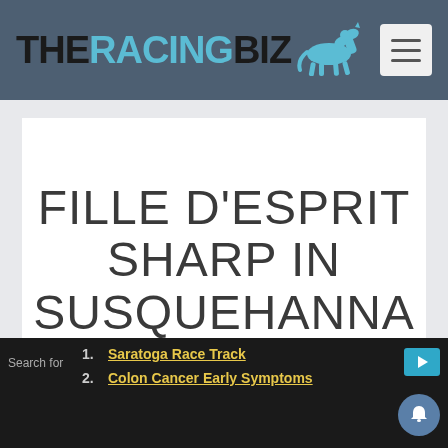THE RACING BIZ
FILLE D'ESPRIT SHARP IN SUSQUEHANNA
1. Saratoga Race Track
2. Colon Cancer Early Symptoms
Search for